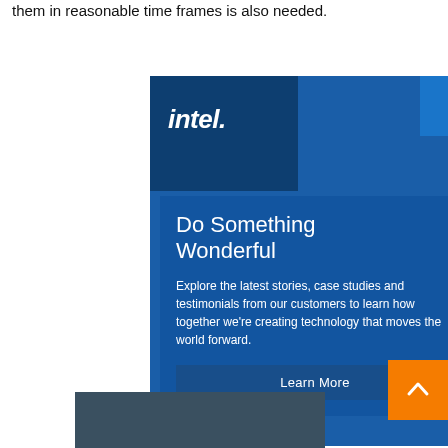them in reasonable time frames is also needed.
[Figure (infographic): Intel advertisement banner with dark blue background, Intel logo in top-left corner, headline 'Do Something Wonderful', body text 'Explore the latest stories, case studies and testimonials from our customers to learn how together we're creating technology that moves the world forward.', and a 'Learn More' button. A cyan accent square appears at bottom-right and an orange back-to-top button with upward chevron is in the lower right corner. A photo strip appears at the bottom.]